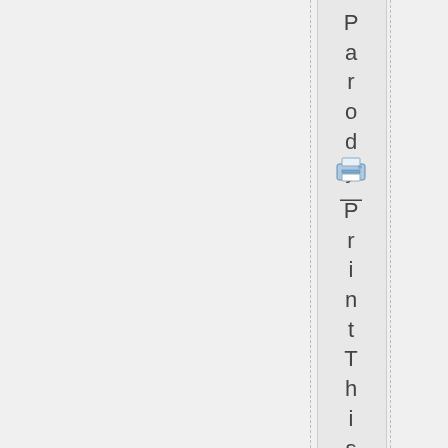Parody—
[Figure (illustration): Small printer icon (blue and grey) in a sidebar widget]
PrintThisPost—|